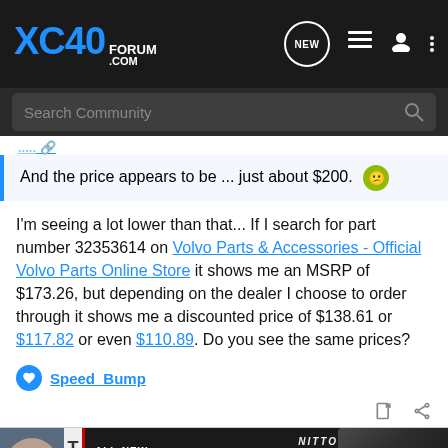XC40 Forum .com — navigation header with search bar
And the price appears to be ... just about $200.
I'm seeing a lot lower than that... If I search for part number 32353614 on Volvo Parts & Accessories - Official Volvo Parts Online Store it shows me an MSRP of $173.26, but depending on the dealer I choose to order through it shows me a discounted price of $138.61 or $117.82 or even $110.89. Do you see the same prices?
Speed_Bump
[Figure (screenshot): Ad banner for Nitto ALL-NEW NOMAD GRAPPLER CROSSOVER-TERRAIN TIRE]